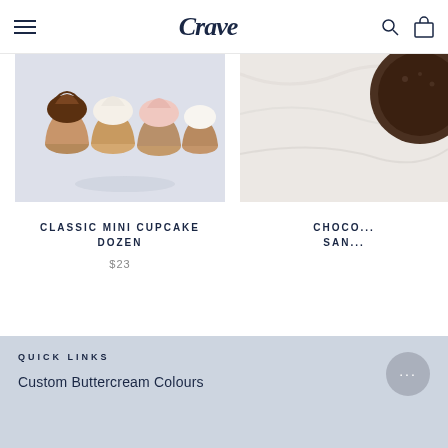Crave
[Figure (photo): Top-down photo of assorted mini cupcakes with chocolate, vanilla, pink, and white buttercream frosting on a light blue/white surface]
CLASSIC MINI CUPCAKE DOZEN
$23
[Figure (photo): Partial photo of chocolate sandwich cookie or cake product on marble surface]
CHOCO... SAN...
QUICK LINKS
Custom Buttercream Colours